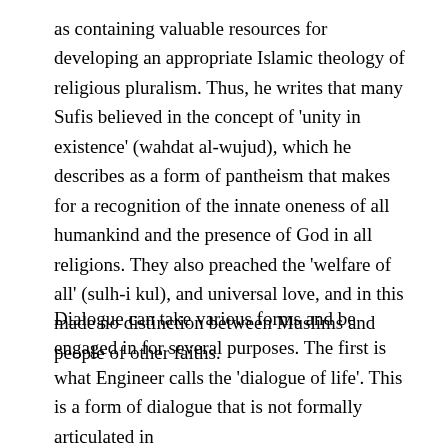as containing valuable resources for developing an appropriate Islamic theology of religious pluralism. Thus, he writes that many Sufis believed in the concept of 'unity in existence' (wahdat al-wujud), which he describes as a form of pantheism that makes for a recognition of the innate oneness of all humankind and the presence of God in all religions. They also preached the 'welfare of all' (sulh-i kul), and universal love, and in this made no distinction between Muslims and people of other faiths.
Dialogue can take various forms and be engaged in for several purposes. The first is what Engineer calls the 'dialogue of life'. This is a form of dialogue that is not formally articulated in